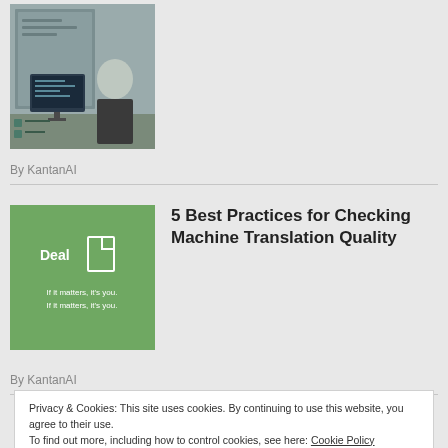[Figure (photo): Photo of a person in front of computer screens in an office/studio setting]
By KantanAI
[Figure (illustration): Green thumbnail image with 'Deal' text and document icon, with subtitle text below]
5 Best Practices for Checking Machine Translation Quality
By KantanAI
Privacy & Cookies: This site uses cookies. By continuing to use this website, you agree to their use.
To find out more, including how to control cookies, see here: Cookie Policy
Close and accept